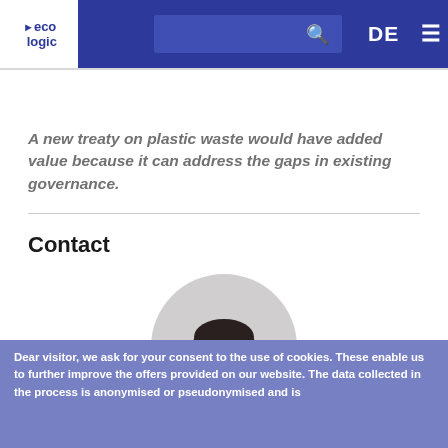[Figure (logo): eco logic institute logo — white block with blue triangle arrow and text 'eco logic']
A new treaty on plastic waste would have added value because it can address the gaps in existing governance.
Contact
[Figure (photo): Black and white circular portrait photo of a woman with short dark hair and glasses, smiling]
Dear visitor, we ask for your consent to the use of cookies. These enable us to further improve the offers provided on our website. The data collected in the process is anonymised or pseudonymised and is